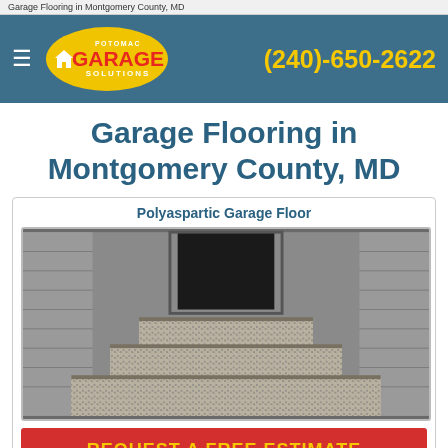Garage Flooring in Montgomery County, MD
[Figure (logo): Potomac Garage Solutions logo with yellow oval, house icon, and red GARAGE text on teal header bar with phone number (240)-650-2622]
Garage Flooring in Montgomery County, MD
Polyaspartic Garage Floor
[Figure (photo): Photo of a garage interior showing polyaspartic floor coating with speckled texture on steps and floor, grey wall panels, and a dark door in the background]
REQUEST A FREE ESTIMATE